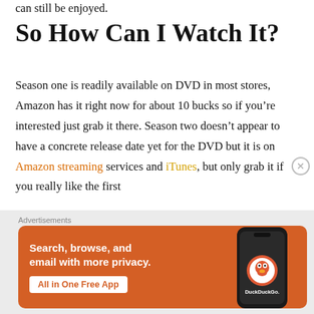can still be enjoyed.
So How Can I Watch It?
Season one is readily available on DVD in most stores, Amazon has it right now for about 10 bucks so if you’re interested just grab it there. Season two doesn’t appear to have a concrete release date yet for the DVD but it is on Amazon streaming services and iTunes, but only grab it if you really like the first
Advertisements
[Figure (screenshot): DuckDuckGo advertisement banner with orange background. Text reads: Search, browse, and email with more privacy. All in One Free App. Shows a phone with the DuckDuckGo logo.]